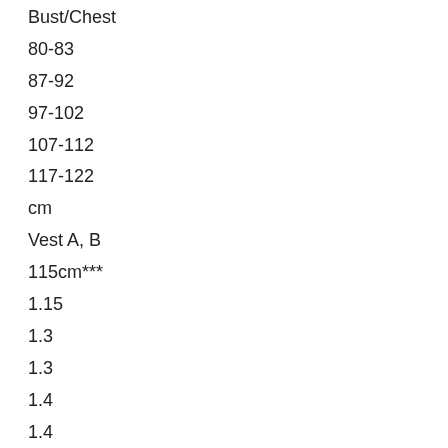Bust/Chest
80-83
87-92
97-102
107-112
117-122
cm
Vest A, B
115cm***
1.15
1.3
1.3
1.4
1.4
m
150cm***
0.95